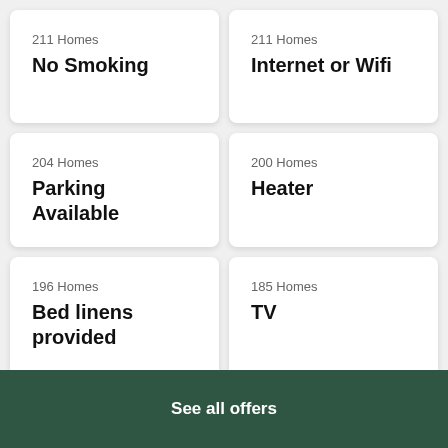211 Homes
No Smoking
211 Homes
Internet or Wifi
204 Homes
Parking Available
200 Homes
Heater
196 Homes
Bed linens provided
185 Homes
TV
See all offers